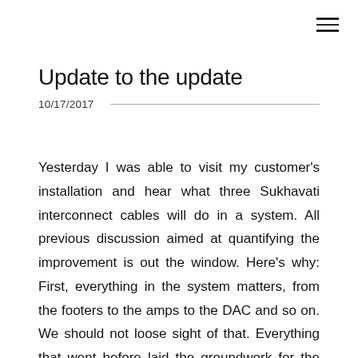≡
Update to the update
10/17/2017
Yesterday I was able to visit my customer's installation and hear what three Sukhavati interconnect cables will do in a system. All previous discussion aimed at quantifying the improvement is out the window. Here's why: First, everything in the system matters, from the footers to the amps to the DAC and so on. We should not loose sight of that. Everything that went before laid the groundwork for the cables to do their magic. However, "magic" is too weak a term to apply to what I experienced. If we have to quantify this upgrade, I